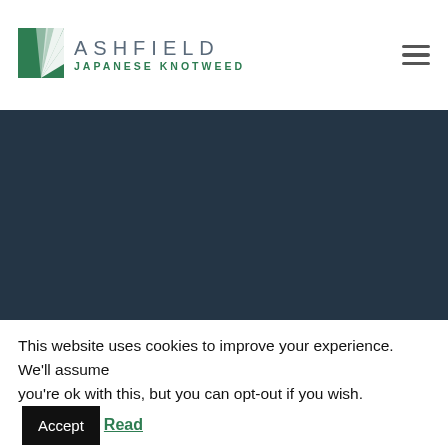[Figure (logo): Ashfield Japanese Knotweed logo with green sunburst/leaf icon and company name]
[Figure (photo): Dark teal/navy blue hero image area (appears to be a photograph with very dark exposure)]
This website uses cookies to improve your experience. We'll assume you're ok with this, but you can opt-out if you wish. Accept Read More